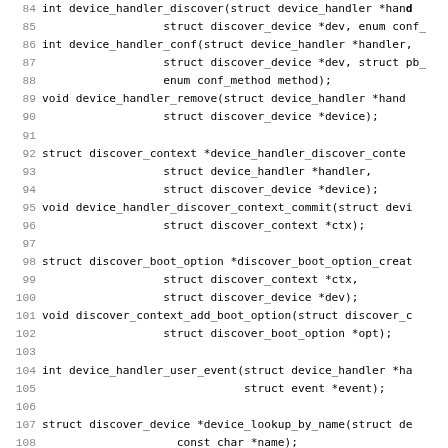Source code listing showing C function declarations for device handler and discover device APIs, lines 84-115.